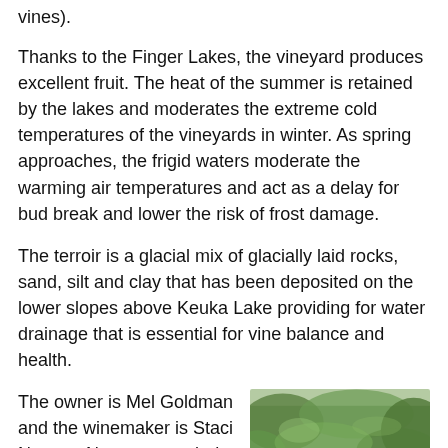vines).
Thanks to the Finger Lakes, the vineyard produces excellent fruit. The heat of the summer is retained by the lakes and moderates the extreme cold temperatures of the vineyards in winter. As spring approaches, the frigid waters moderate the warming air temperatures and act as a delay for bud break and lower the risk of frost damage.
The terroir is a glacial mix of glacially laid rocks, sand, silt and clay that has been deposited on the lower slopes above Keuka Lake providing for water drainage that is essential for vine balance and health.
The owner is Mel Goldman and the winemaker is Staci Nugent. Nugent attended Cornell and
[Figure (photo): Portrait photo of a woman with dark hair among green foliage/vines]